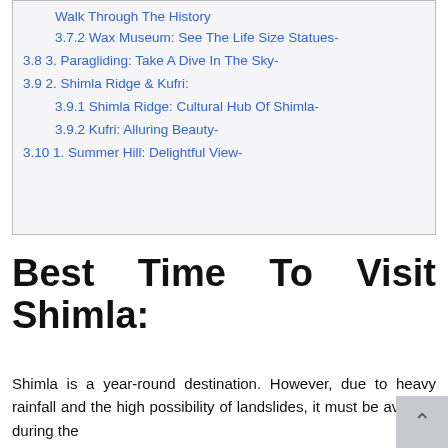Walk Through The History
3.7.2 Wax Museum: See The Life Size Statues-
3.8 3. Paragliding: Take A Dive In The Sky-
3.9 2. Shimla Ridge & Kufri:
3.9.1 Shimla Ridge: Cultural Hub Of Shimla-
3.9.2 Kufri: Alluring Beauty-
3.10 1. Summer Hill: Delightful View-
Best Time To Visit Shimla:
Shimla is a year-round destination. However, due to heavy rainfall and the high possibility of landslides, it must be avoided during the